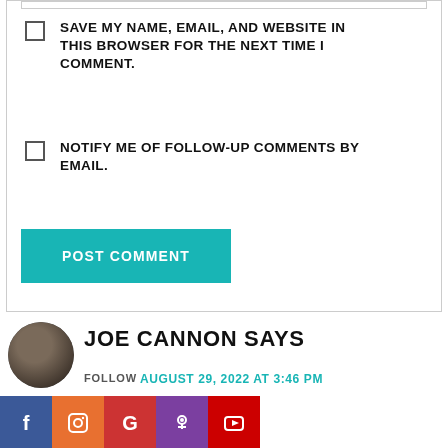SAVE MY NAME, EMAIL, AND WEBSITE IN THIS BROWSER FOR THE NEXT TIME I COMMENT.
NOTIFY ME OF FOLLOW-UP COMMENTS BY EMAIL.
POST COMMENT
JOE CANNON SAYS
FOLLOW
AUGUST 29, 2022 AT 3:46 PM
Here's a video I recorded reviewing the proof for rosemary oil regrowing hair. I included before & after